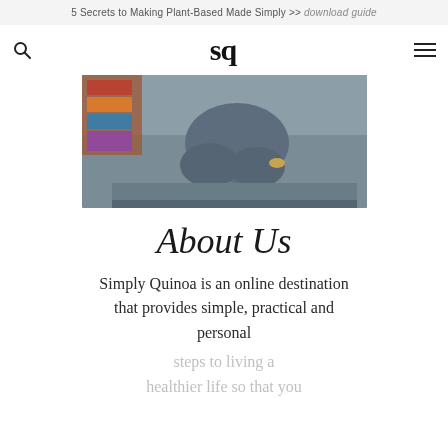5 Secrets to Making Plant-Based Made Simply >> download guide
[Figure (logo): sq logo - stylized letters S and Q in bold serif font, centered in navigation bar]
[Figure (photo): Person sitting cross-legged, wearing jeans, viewed from waist down, seated on a grey cushioned surface with a colorful textile in background]
About Us
Simply Quinoa is an online destination that provides simple, practical and personal steps to living a healthier life so that you